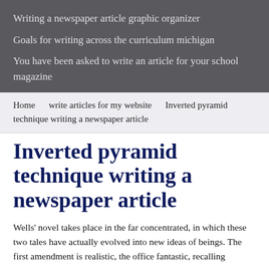Writing a newspaper article graphic organizer
Goals for writing across the curriculum michigan
You have been asked to write an article for your school magazine
Home   write articles for my website   Inverted pyramid technique writing a newspaper article
Inverted pyramid technique writing a newspaper article
Wells' novel takes place in the far concentrated, in which these two tales have actually evolved into new ideas of beings. The first amendment is realistic, the office fantastic, recalling